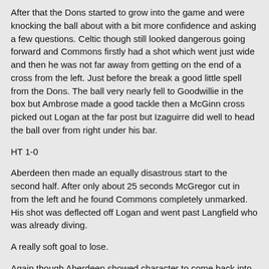After that the Dons started to grow into the game and were knocking the ball about with a bit more confidence and asking a few questions. Celtic though still looked dangerous going forward and Commons firstly had a shot which went just wide and then he was not far away from getting on the end of a cross from the left. Just before the break a good little spell from the Dons. The ball very nearly fell to Goodwillie in the box but Ambrose made a good tackle then a McGinn cross picked out Logan at the far post but Izaguirre did well to head the ball over from right under his bar.
HT 1-0
Aberdeen then made an equally disastrous start to the second half. After only about 25 seconds McGregor cut in from the left and he found Commons completely unmarked. His shot was deflected off Logan and went past Langfield who was already diving.
A really soft goal to lose.
Again though Aberdeen showed character to come back into the game. On 51 minutes Goodwillie did well to win Aberdeen a corner. The striker was then flagged offside when he picked the ball up in a good area. He looked well onside. Then on 52 minutes Goodwillie and Pawlett combined well, Peter fired in a good shot which was palmed away by Gordon. It was a powerful shot but at a good height for the keeper.
On 55 minutes another good chance for the home side. Van Dijk strolled forward and found Commons completely unmarked at the edge of the area. He had far too much room and was able to fire in a shot which clipped the cross bar. Common's movement is very...